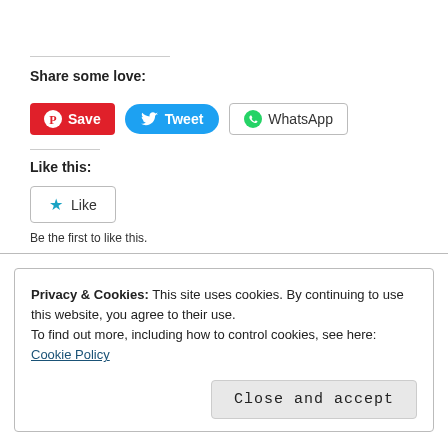Share some love:
[Figure (other): Social share buttons: Pinterest Save, Twitter Tweet, WhatsApp]
Like this:
[Figure (other): WordPress Like button with star icon]
Be the first to like this.
Privacy & Cookies: This site uses cookies. By continuing to use this website, you agree to their use.
To find out more, including how to control cookies, see here:
Cookie Policy
Close and accept